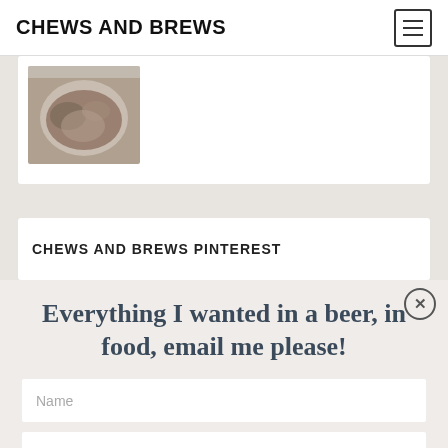CHEWS AND BREWS
[Figure (photo): Food photo showing a dish on a plate, partially visible at top of card]
CHEWS AND BREWS PINTEREST
Everything I wanted in a beer, in food, email me please!
Name
Email
Subscribe